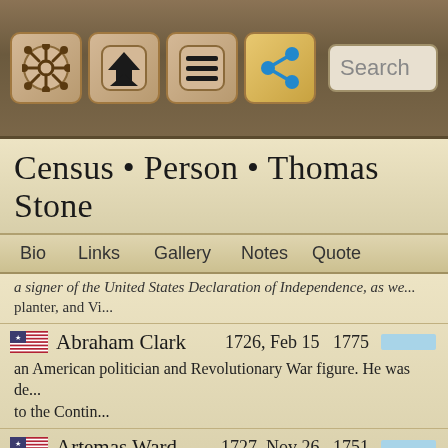[Figure (screenshot): Mobile app toolbar with navigation icons (ship wheel, home/up, menu, share) and a Search bar]
Census • Person • Thomas Stone
Bio   Links   Gallery   Notes   Quote
a signer of the United States Declaration of Independence, as we... planter, and Vi...
Abraham Clark   1726, Feb 15   1775   an American politician and Revolutionary War figure. He was de... to the Contin...
Artemas Ward   1727, Nov 26   1751   an American major general in the American Revolutionary War a... from Massachusetts....
John Rutledge   1739, Sep 17   1760   the second Chief Justice of the Supreme Court of the United State... judge, Rutledg...
Joseph McDowell   1758, Feb 25   1776   an American lawyer, soldier, and statesman from Morganton, No... estate was name...
Samuel Huntington   1731, Jul 5   1754